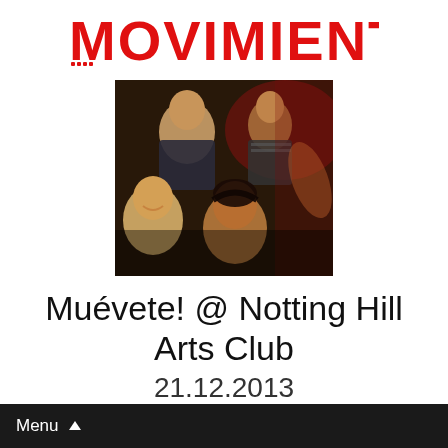[Figure (logo): MOVIMIENTOS logo in bold red stylized text with decorative dotted elements]
[Figure (photo): Group of young people at a nightclub or party, smiling and close together, dark atmosphere with warm lighting]
Muévete! @ Notting Hill Arts Club
21.12.2013
#FLAWA2020 has prepared a night of non-stopping dance with Ms Nina, a young multidisciplinary artist
Menu ▲